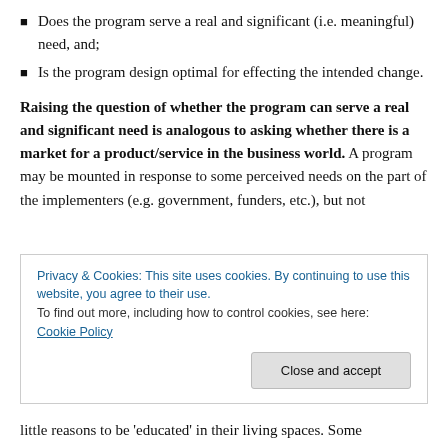Does the program serve a real and significant (i.e. meaningful) need, and;
Is the program design optimal for effecting the intended change.
Raising the question of whether the program can serve a real and significant need is analogous to asking whether there is a market for a product/service in the business world. A program may be mounted in response to some perceived needs on the part of the implementers (e.g. government, funders, etc.), but not
Privacy & Cookies: This site uses cookies. By continuing to use this website, you agree to their use.
To find out more, including how to control cookies, see here: Cookie Policy
little reasons to be 'educated' in their living spaces. Some